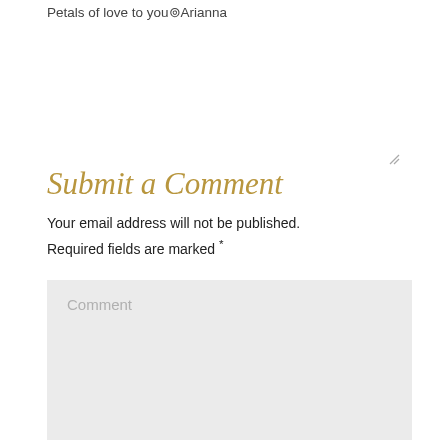Petals of love to you⊚Arianna
Submit a Comment
Your email address will not be published. Required fields are marked *
Comment